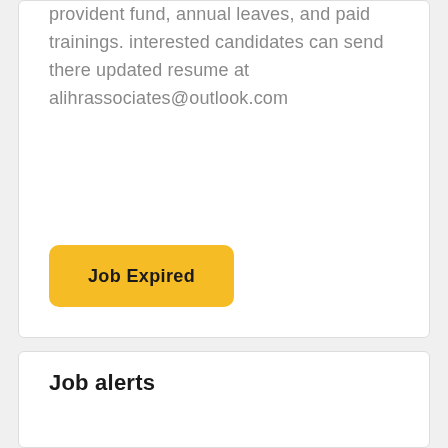provident fund, annual leaves, and paid trainings. interested candidates can send there updated resume at alihrassociates@outlook.com
Job Expired
Job alerts